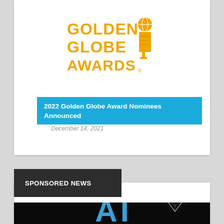[Figure (logo): Golden Globe Awards logo — text 'GOLDEN GLOBE AWARDS' in gold/amber with a golden trophy statuette on the right]
2022 Golden Globe Award Nominees Announced
December 14, 2021
SPONSORED NEWS
[Figure (photo): Dark background image with blue letters 'AI' prominently displayed, with a sparkly/diamond-like decorative element on the right side]